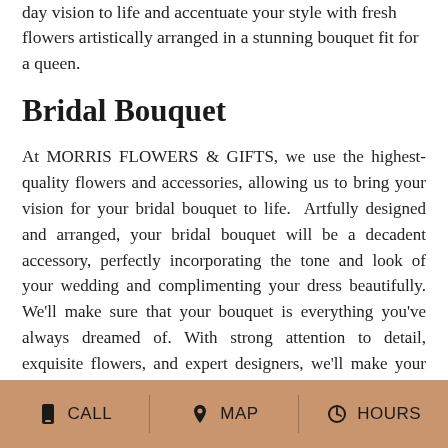day vision to life and accentuate your style with fresh flowers artistically arranged in a stunning bouquet fit for a queen.
Bridal Bouquet
At MORRIS FLOWERS & GIFTS, we use the highest-quality flowers and accessories, allowing us to bring your vision for your bridal bouquet to life. Artfully designed and arranged, your bridal bouquet will be a decadent accessory, perfectly incorporating the tone and look of your wedding and complimenting your dress beautifully. We'll make sure that your bouquet is everything you've always dreamed of. With strong attention to detail, exquisite flowers, and expert designers, we'll make your bouquet unforgettable.
Bridesmaids' Bouquets
CALL  MAP  HOURS